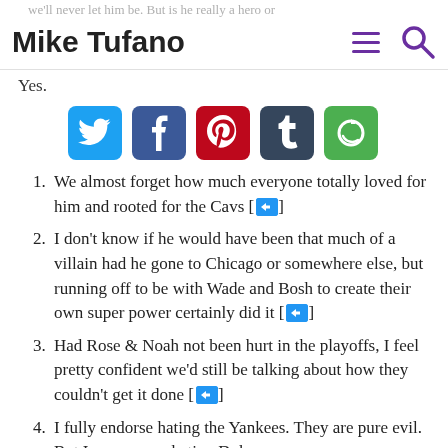Mike Tufano
Yes.
[Figure (other): Social sharing buttons row: Twitter (blue bird), Facebook (dark blue f), Pinterest (red p), Tumblr (dark blue t), and a green circular arrow icon]
We almost forget how much everyone totally loved for him and rooted for the Cavs [↩]
I don't know if he would have been that much of a villain had he gone to Chicago or somewhere else, but running off to be with Wade and Bosh to create their own super power certainly did it [↩]
Had Rose & Noah not been hurt in the playoffs, I feel pretty confident we'd still be talking about how they couldn't get it done [↩]
I fully endorse hating the Yankees. They are pure evil. But I gave up on hating Duke…